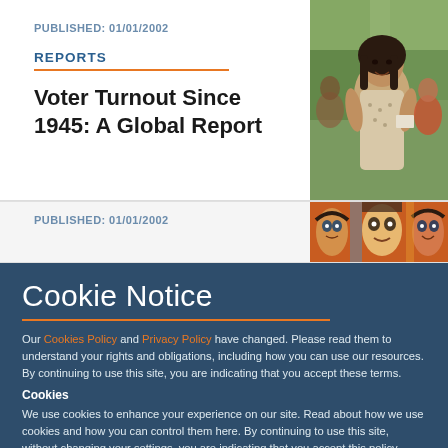PUBLISHED: 01/01/2002
REPORTS
Voter Turnout Since 1945: A Global Report
[Figure (photo): Woman smiling, holding a document, outdoors with trees in background]
PUBLISHED: 01/01/2002
[Figure (photo): Colorful folk art painting showing stylized faces]
Cookie Notice
Our Cookies Policy and Privacy Policy have changed. Please read them to understand your rights and obligations, including how you can use our resources. By continuing to use this site, you are indicating that you accept these terms.
Cookies
We use cookies to enhance your experience on our site. Read about how we use cookies and how you can control them here. By continuing to use this site, without changing your settings, you are indicating that you accept this policy.